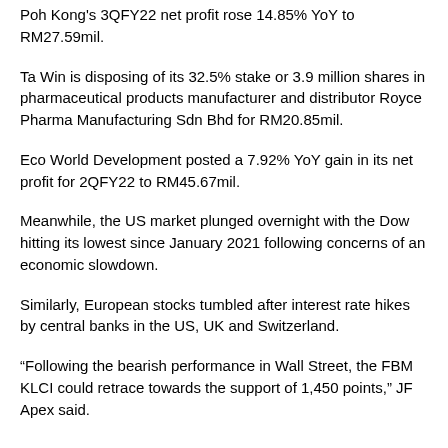Poh Kong's 3QFY22 net profit rose 14.85% YoY to RM27.59mil.
Ta Win is disposing of its 32.5% stake or 3.9 million shares in pharmaceutical products manufacturer and distributor Royce Pharma Manufacturing Sdn Bhd for RM20.85mil.
Eco World Development posted a 7.92% YoY gain in its net profit for 2QFY22 to RM45.67mil.
Meanwhile, the US market plunged overnight with the Dow hitting its lowest since January 2021 following concerns of an economic slowdown.
Similarly, European stocks tumbled after interest rate hikes by central banks in the US, UK and Switzerland.
“Following the bearish performance in Wall Street, the FBM KLCI could retrace towards the support of 1,450 points,” JF Apex said.
ı{zhuan}ıııshuoıı ming[:ıııbenııııııziıSunbetı
ıııııı2ıııııııwww.hg108.vipı_FMM asks govt to reconsider its